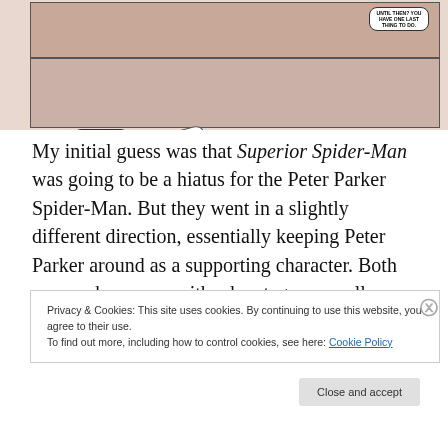[Figure (illustration): Comic book panels showing Spider-Man scenes with speech bubbles: 'UNTIL THEN? YOU HAVE ONE LAST THING TO DO.', 'YOU NEED TO GET UP AND FIGHT ONE MORE TIME!', 'C'MON, PETER! GET UP!']
My initial guess was that Superior Spider-Man was going to be a hiatus for the Peter Parker Spider-Man. But they went in a slightly different direction, essentially keeping Peter Parker around as a supporting character. Both approaches come with advantages as well as drawbacks.
Privacy & Cookies: This site uses cookies. By continuing to use this website, you agree to their use.
To find out more, including how to control cookies, see here: Cookie Policy
Close and accept